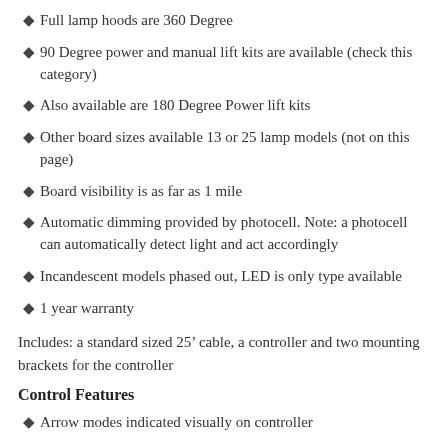Full lamp hoods are 360 Degree
90 Degree power and manual lift kits are available (check this category)
Also available are 180 Degree Power lift kits
Other board sizes available 13 or 25 lamp models (not on this page)
Board visibility is as far as 1 mile
Automatic dimming provided by photocell. Note: a photocell can automatically detect light and act accordingly
Incandescent models phased out, LED is only type available
1 year warranty
Includes: a standard sized 25’ cable, a controller and two mounting brackets for the controller
Control Features
Arrow modes indicated visually on controller